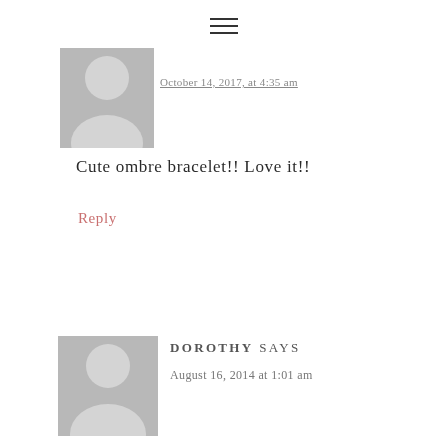[Figure (illustration): Hamburger menu icon with three horizontal lines]
[Figure (photo): Generic user avatar placeholder (grey silhouette), partially cropped at top]
October 14, 2017, at 4:35 am
Cute ombre bracelet!! Love it!!
Reply
[Figure (photo): Generic user avatar placeholder (grey silhouette) for Dorothy]
DOROTHY SAYS
August 16, 2014 at 1:01 am